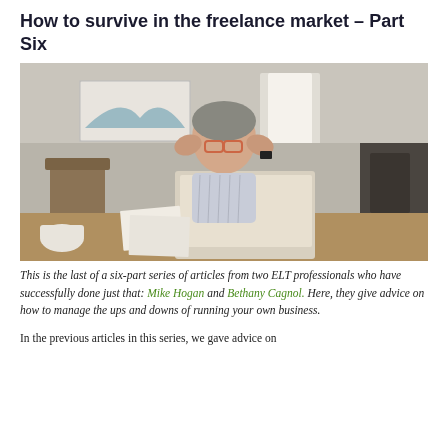How to survive in the freelance market – Part Six
[Figure (photo): Middle-aged man with glasses sitting at a desk with a laptop, holding his hands to his temples in a stressed expression. Background shows a home interior with artwork on the wall and chairs.]
This is the last of a six-part series of articles from two ELT professionals who have successfully done just that: Mike Hogan and Bethany Cagnol. Here, they give advice on how to manage the ups and downs of running your own business.
In the previous articles in this series, we gave advice on